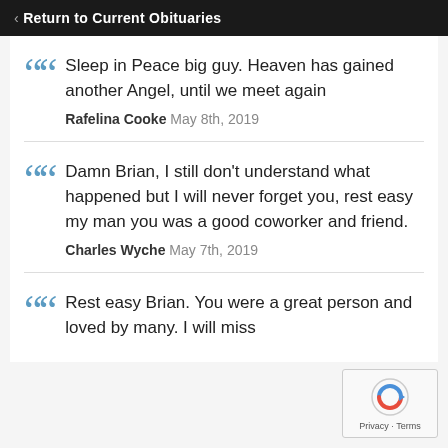‹ Return to Current Obituaries
Sleep in Peace big guy. Heaven has gained another Angel, until we meet again
Rafelina Cooke May 8th, 2019
Damn Brian, I still don't understand what happened but I will never forget you, rest easy my man you was a good coworker and friend.
Charles Wyche May 7th, 2019
Rest easy Brian. You were a great person and loved by many. I will miss